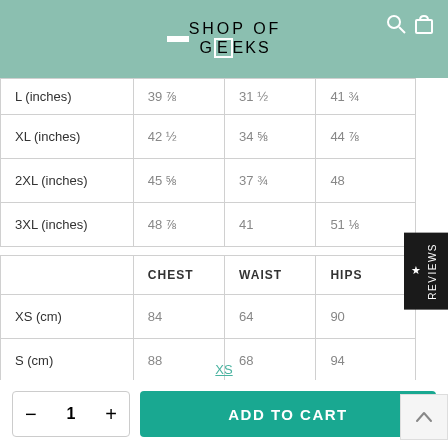SHOP OF GEEKS
|  | CHEST | WAIST | HIPS |
| --- | --- | --- | --- |
| L (inches) | 39 ⅞ | 31 ½ | 41 ¾ |
| XL (inches) | 42 ½ | 34 ⅝ | 44 ⅞ |
| 2XL (inches) | 45 ⅝ | 37 ¾ | 48 |
| 3XL (inches) | 48 ⅞ | 41 | 51 ⅛ |
|  | CHEST | WAIST | HIPS |
| --- | --- | --- | --- |
| XS (cm) | 84 | 64 | 90 |
| S (cm) | 88 | 68 | 94 |
XS
− 1 +
ADD TO CART